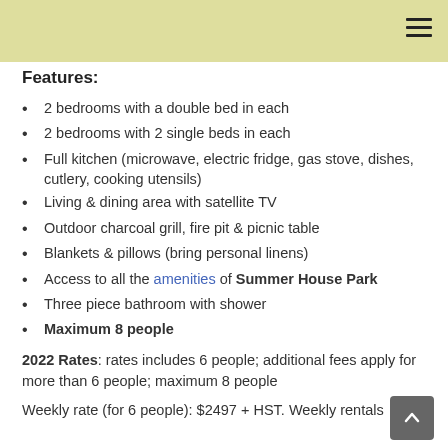Features:
2 bedrooms with a double bed in each
2 bedrooms with 2 single beds in each
Full kitchen (microwave, electric fridge, gas stove, dishes, cutlery, cooking utensils)
Living & dining area with satellite TV
Outdoor charcoal grill, fire pit & picnic table
Blankets & pillows (bring personal linens)
Access to all the amenities of Summer House Park
Three piece bathroom with shower
Maximum 8 people
2022 Rates: rates includes 6 people; additional fees apply for more than 6 people; maximum 8 people
Weekly rate (for 6 people): $2497 + HST. Weekly rentals